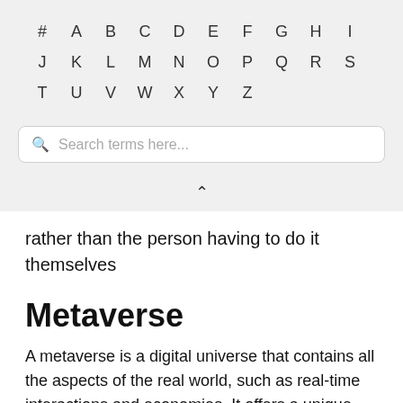# A B C D E F G H I J K L M N O P Q R S T U V W X Y Z
[Figure (other): Search box with magnifying glass icon and placeholder text 'Search terms here...']
[Figure (other): Chevron/caret up arrow icon]
rather than the person having to do it themselves
Metaverse
A metaverse is a digital universe that contains all the aspects of the real world, such as real-time interactions and economies. It offers a unique